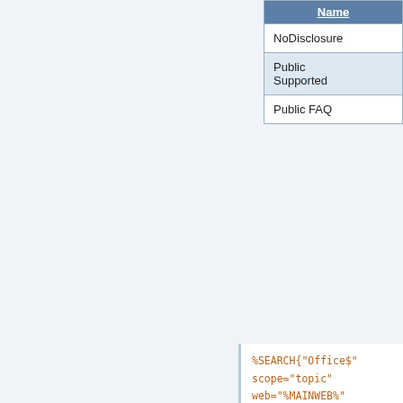| Name |
| --- |
| NoDisclosure |
| Public
Supported |
| Public FAQ |
Field values can also be obtained as the result of a FormattedSearch. For example,
%SEARCH{"Office$"
scope="topic"
web="%MAINWEB%"
nonoise="on"
type="regex"
format="$web.$topic"
separator=", "
}%
when used in the value field of the form definition, this will find all topic